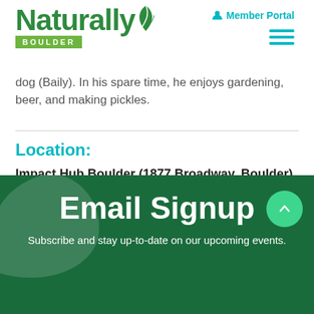Naturally Boulder | Member Portal
dog (Baily). In his spare time, he enjoys gardening, beer, and making pickles.
Location:
Impact Hub Boulder (1877 Broadway, Boulder)
Email Signup
Subscribe and stay up-to-date on our upcoming events.